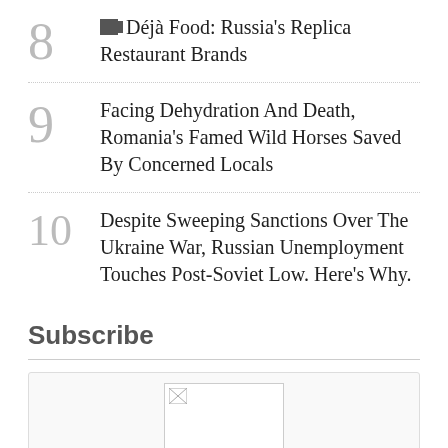8 Déjà Food: Russia's Replica Restaurant Brands
9 Facing Dehydration And Death, Romania's Famed Wild Horses Saved By Concerned Locals
10 Despite Sweeping Sanctions Over The Ukraine War, Russian Unemployment Touches Post-Soviet Low. Here's Why.
Subscribe
[Figure (other): Subscribe box with a broken/loading image placeholder]